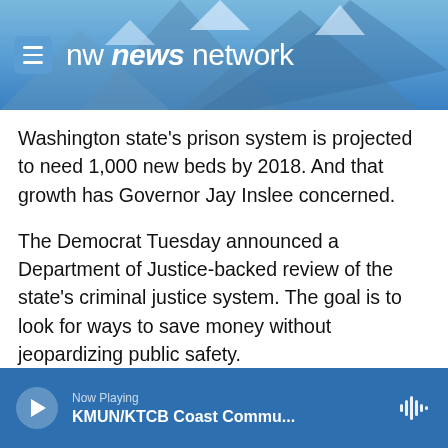[Figure (screenshot): NW News Network website header banner with mountain background, hamburger menu button, and logo text 'nw news network']
Washington state's prison system is projected to need 1,000 new beds by 2018. And that growth has Governor Jay Inslee concerned.
The Democrat Tuesday announced a Department of Justice-backed review of the state's criminal justice system. The goal is to look for ways to save money without jeopardizing public safety.
In Washington, crime and arrests are down. Still as the state grows, so does the prison population. Already the system is running 2 percent over capacity. To keep up with the growth, Washington
Now Playing
KMUN/KTCB Coast Commu...